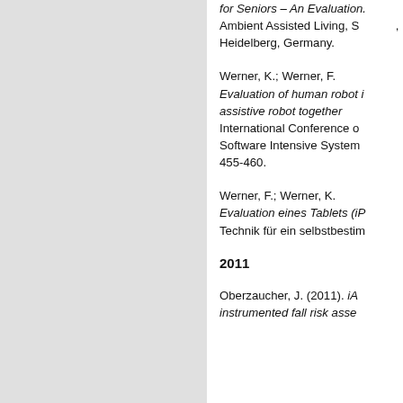for Seniors – An Evaluation. Ambient Assisted Living, Springer, Heidelberg, Germany.
Werner, K.; Werner, F. Evaluation of human robot interaction with an assistive robot together with... International Conference on Software Intensive Systems... 455-460.
Werner, F.; Werner, K. Evaluation eines Tablets (iP... Technik für ein selbstbestim...
2011
Oberzaucher, J. (2011). iA... instrumented fall risk asse...